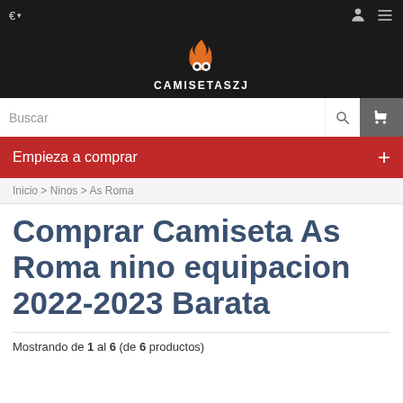€ ▾
[Figure (logo): CamisetasZJ logo with flame icon and text CAMISETASZJ]
Buscar  [search icon] [cart icon]
Empieza a comprar  +
Inicio > Ninos > As Roma
Comprar Camiseta As Roma nino equipacion 2022-2023 Barata
Mostrando de 1 al 6 (de 6 productos)